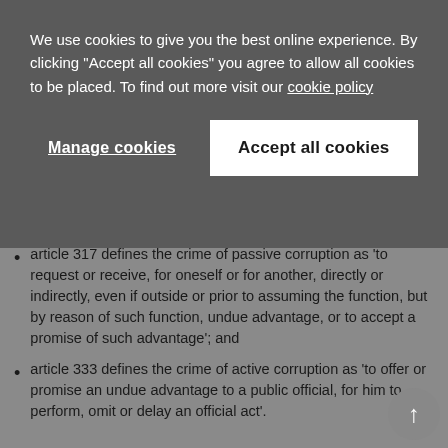We use cookies to give you the best online experience. By clicking "Accept all cookies" you agree to allow all cookies to be placed. To find out more visit our cookie policy
Manage cookies
Accept all cookies
article 317 defines the crime of passive corruption as 'to request or receive, for oneself or for another, directly or indirectly, even if outside or prior to assuming the function, but by reason of such function, undue advantage, or to accept a promise of such advantage'; and
article 333 defines the crime of active corruption as 'to offer or promise an undue advantage to a public official, for him to perform, omit or delay an official act'.